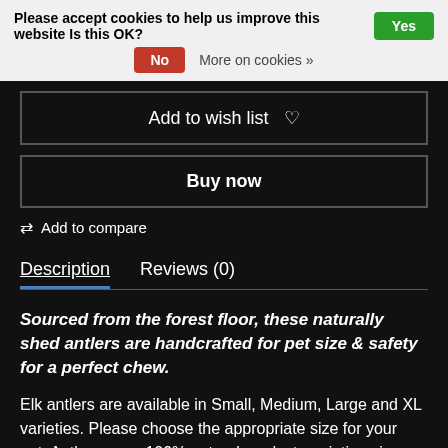Please accept cookies to help us improve this website Is this OK? Yes | No | More on cookies »
Add to wish list ♡
Buy now
⇄ Add to compare
Description   Reviews (0)
Sourced from the forest floor, these naturally shed antlers are handcrafted for pet size & safety for a perfect chew.
Elk antlers are available in Small, Medium, Large and XL varieties. Please choose the appropriate size for your pet. Antlers are a 100% natural product–variations in shape and appearance are